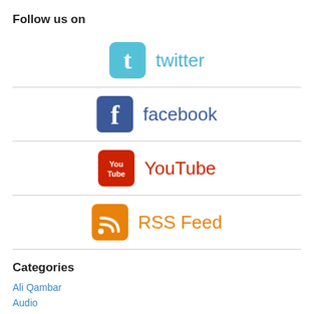Follow us on
[Figure (logo): Twitter bird logo icon (light blue rounded square with white bird)]
[Figure (logo): Facebook logo icon (dark blue rounded square with white f)]
[Figure (logo): YouTube logo icon (red rounded rectangle with You Tube text)]
[Figure (logo): RSS Feed logo icon (orange rounded square with wifi signal waves)]
Categories
Ali Qambar
Audio